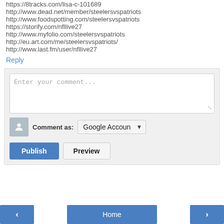https://8tracks.com/lisa-c-101689
http://www.dead.net/member/steelersvspatriots
http://www.foodspotting.com/steelersvspatriots
https://storify.com/nfllive27
http://www.myfolio.com/steelersvspatriots
http://eu.art.com/me/steelersvspatriots/
http://www.last.fm/user/nfllive27
Reply
[Figure (screenshot): Comment submission form with textarea placeholder 'Enter your comment...', avatar icon, 'Comment as: Google Account' dropdown, and Publish/Preview buttons]
[Figure (screenshot): Navigation bar with left arrow, Home button, and right arrow buttons]